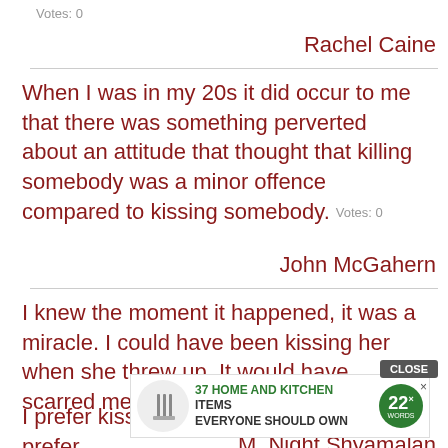Votes: 0
Rachel Caine
When I was in my 20s it did occur to me that there was something perverted about an attitude that thought that killing somebody was a minor offence compared to kissing somebody.  Votes: 0
John McGahern
I knew the moment it happened, it was a miracle. I could have been kissing her when she threw up. It would have scarred me for life. I may
[Figure (screenshot): Advertisement overlay: '37 HOME AND KITCHEN ITEMS EVERYONE SHOULD OWN' with circular logo and CLOSE button]
M. Night Shyamalan
I prefer kissing over dinner. Not that I prefer